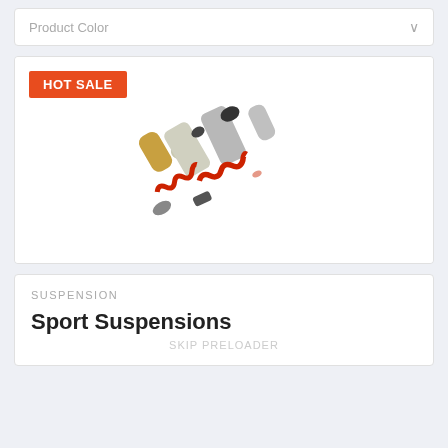Product Color
[Figure (photo): Two sport motorcycle shock absorbers with red coil springs and gold/silver bodies, featuring reservoir canisters. HOT SALE badge in top-left corner.]
SUSPENSION
Sport Suspensions
SKIP PRELOADER